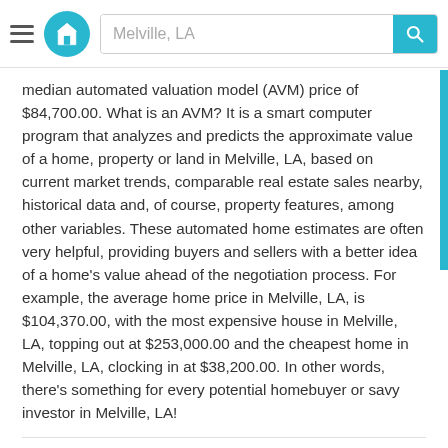Melville, LA
median automated valuation model (AVM) price of $84,700.00. What is an AVM? It is a smart computer program that analyzes and predicts the approximate value of a home, property or land in Melville, LA, based on current market trends, comparable real estate sales nearby, historical data and, of course, property features, among other variables. These automated home estimates are often very helpful, providing buyers and sellers with a better idea of a home’s value ahead of the negotiation process. For example, the average home price in Melville, LA, is $104,370.00, with the most expensive house in Melville, LA, topping out at $253,000.00 and the cheapest home in Melville, LA, clocking in at $38,200.00. In other words, there’s something for every potential homebuyer or savy investor in Melville, LA!
Rent Prices In Melville, LA
With the expiration of certain local, state and federal housing-related restrictions and mandated programs, the rental market in Melville, LA, is on a rollercoaster ride. The average rent price in